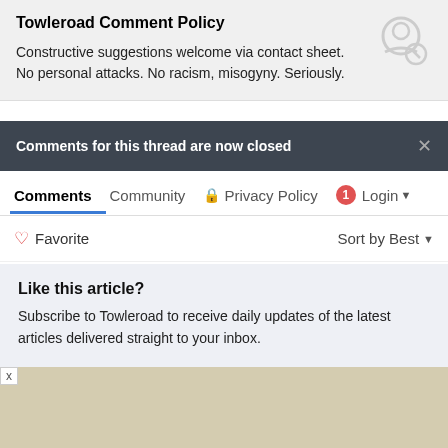Towleroad Comment Policy
Constructive suggestions welcome via contact sheet. No personal attacks. No racism, misogyny. Seriously.
Comments for this thread are now closed
Comments  Community  Privacy Policy  1  Login
Favorite  Sort by Best
Like this article?
Subscribe to Towleroad to receive daily updates of the latest articles delivered straight to your inbox.